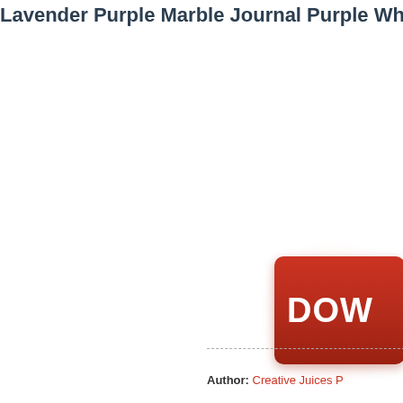Lavender Purple Marble Journal Purple White Marb
[Figure (screenshot): Red download button with white text 'DOW' (partially visible), with a soft red/orange glow beneath it, on a white background]
Author: Creative Juices P